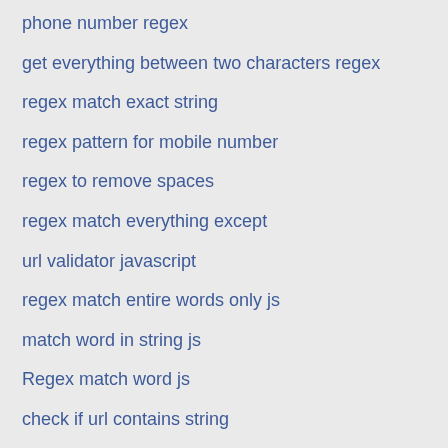phone number regex
get everything between two characters regex
regex match exact string
regex pattern for mobile number
regex to remove spaces
regex match everything except
url validator javascript
regex match entire words only js
match word in string js
Regex match word js
check if url contains string
regex min length max length
javascript regex number
javascript regex number only